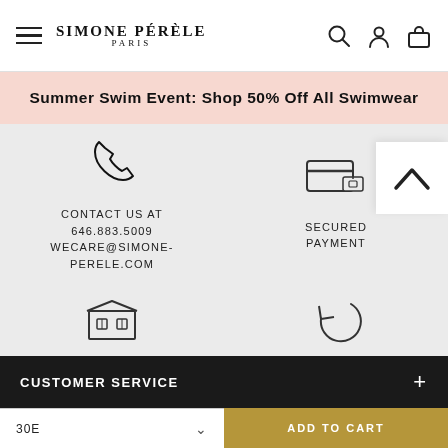SIMONE PÉRÈLE PARIS
Summer Swim Event: Shop 50% Off All Swimwear
[Figure (infographic): Four service icons with text: phone icon with CONTACT US AT 646.883.5009 WECARE@SIMONE-PERELE.COM; credit card with lock icon with SECURED PAYMENT; storefront icon with FREE SHIPPING; circular arrow icon with FREE RETURNS]
CUSTOMER SERVICE
30E
ADD TO CART